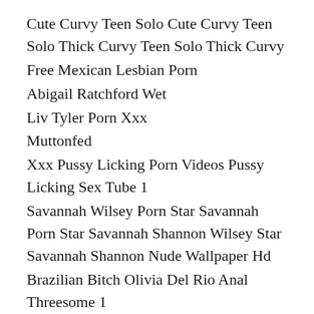Cute Curvy Teen Solo Cute Curvy Teen Solo Thick Curvy Teen Solo Thick Curvy
Free Mexican Lesbian Porn
Abigail Ratchford Wet
Liv Tyler Porn Xxx
Muttonfed
Xxx Pussy Licking Porn Videos Pussy Licking Sex Tube 1
Savannah Wilsey Porn Star Savannah Porn Star Savannah Shannon Wilsey Star Savannah Shannon Nude Wallpaper Hd
Brazilian Bitch Olivia Del Rio Anal Threesome 1
Karlie Redd Newest Host At Playboy Radio Playboy Girls Picture
Tribbing Free Porn Movies Watch And Download Tribbing Sex Videos